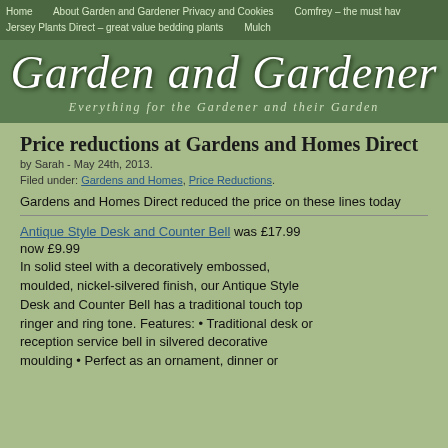Home   About Garden and Gardener Privacy and Cookies   Comfrey – the must hav   Jersey Plants Direct – great value bedding plants   Mulch
[Figure (logo): Garden and Gardener website banner with cursive logo text and tagline 'Everything for the Gardener and their Garden' on dark green background]
Price reductions at Gardens and Homes Direct
by Sarah - May 24th, 2013.
Filed under: Gardens and Homes, Price Reductions.
Gardens and Homes Direct reduced the price on these lines today
Antique Style Desk and Counter Bell was £17.99
now £9.99
In solid steel with a decoratively embossed, moulded, nickel-silvered finish, our Antique Style Desk and Counter Bell has a traditional touch top ringer and ring tone. Features: • Traditional desk or reception service bell in silvered decorative moulding • Perfect as an ornament, dinner or